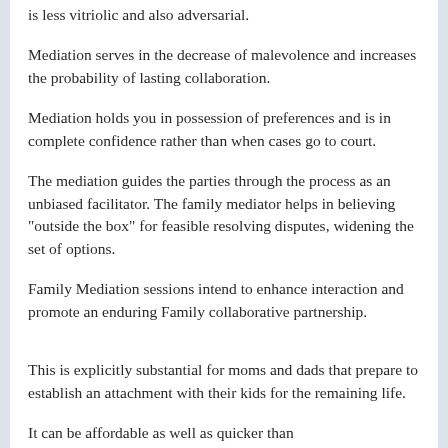is less vitriolic and also adversarial.
Mediation serves in the decrease of malevolence and increases the probability of lasting collaboration.
Mediation holds you in possession of preferences and is in complete confidence rather than when cases go to court.
The mediation guides the parties through the process as an unbiased facilitator. The family mediator helps in believing "outside the box" for feasible resolving disputes, widening the set of options.
Family Mediation sessions intend to enhance interaction and promote an enduring Family collaborative partnership.
This is explicitly substantial for moms and dads that prepare to establish an attachment with their kids for the remaining life.
It can be affordable as well as quicker than